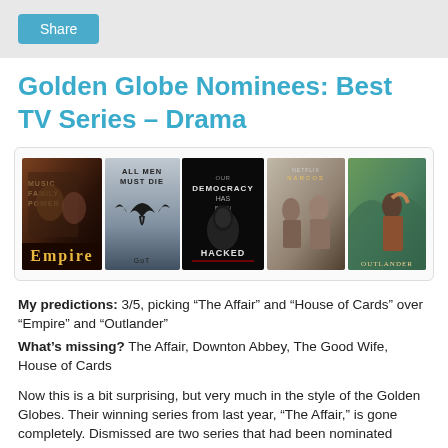Share
Golden Globe Nominees: Best TV Series – Drama
[Figure (photo): Five TV show posters: Empire, Game of Thrones (All Men Must Die), Mr. Robot (Our Democracy Has Been Hacked), Narcos, Outlander]
My predictions: 3/5, picking “The Affair” and “House of Cards” over “Empire” and “Outlander”
What’s missing? The Affair, Downton Abbey, The Good Wife, House of Cards
Now this is a bit surprising, but very much in the style of the Golden Globes. Their winning series from last year, “The Affair,” is gone completely. Dismissed are two series that had been nominated regularly in the past, including one that I really didn’t expect to be gone so soon, “House of Cards.”